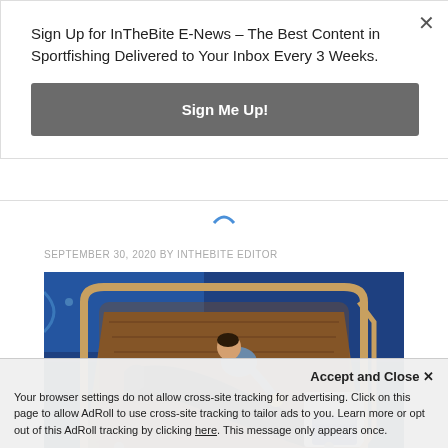Sign Up for InTheBite E-News – The Best Content in Sportfishing Delivered to Your Inbox Every 3 Weeks.
Sign Me Up!
SEPTEMBER 30, 2020 BY INTHEBITE EDITOR
[Figure (photo): Aerial view of a person on the cockpit of a sportfishing boat handling a large billfish/marlin, with wooden deck visible and blue ocean water surrounding the boat.]
Accept and Close ×
Your browser settings do not allow cross-site tracking for advertising. Click on this page to allow AdRoll to use cross-site tracking to tailor ads to you. Learn more or opt out of this AdRoll tracking by clicking here. This message only appears once.